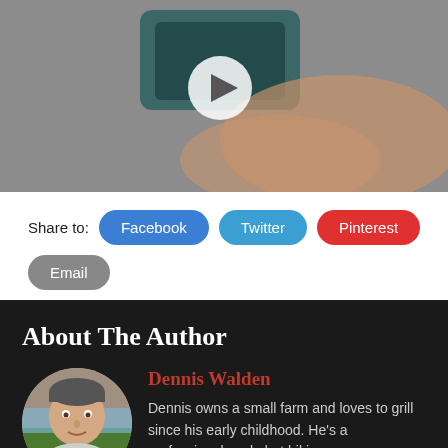[Figure (photo): Video thumbnail showing a hand holding a device, with a white play button overlay]
Share to: Facebook Twitter Pinterest Email
About The Author
[Figure (photo): Circular portrait photo of Dennis Walden, a man with short hair]
Dennis Walden
Dennis owns a small farm and loves to grill since his early childhood. He's a professional cook, but hiking and enjoying the great outdoors is his no less favorite part of life.